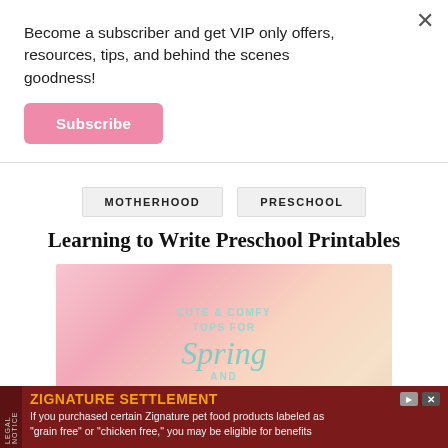Become a subscriber and get VIP only offers, resources, tips, and behind the scenes goodness!
Subscribe
MOTHERHOOD
PRESCHOOL
Learning to Write Preschool Printables
[Figure (illustration): Pink and peach blurred floral background with teal text overlay reading 'CUTE & COMFY TOPS FOR Spring AND Quarantine']
ZIGNATURE SETTLEMENT
If you purchased certain Zignature pet food products labeled as "grain free" or "chicken free," you may be eligible for benefits